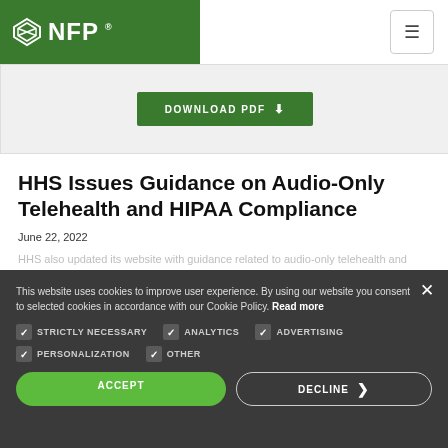NFP logo and navigation menu
DOWNLOAD PDF
HHS Issues Guidance on Audio-Only Telehealth and HIPAA Compliance
June 22, 2022
This website uses cookies to improve user experience. By using our website you consent to selected cookies in accordance with our Cookie Policy. Read more
STRICTLY NECESSARY
ANALYTICS
ADVERTISING
PERSONALIZATION
OTHER
ACCEPT
DECLINE